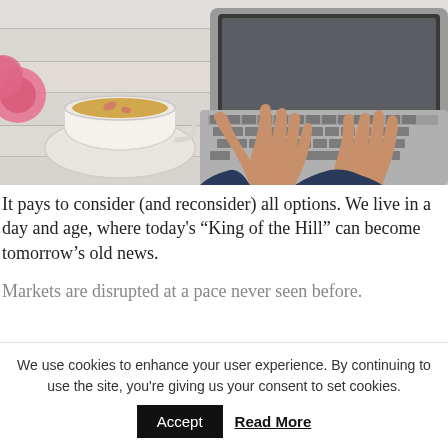[Figure (photo): Overhead/top-down view of person's hands typing on a laptop keyboard, with a cup of tea and pink flower visible to the left, on a white wooden surface.]
It pays to consider (and reconsider) all options. We live in a day and age, where today's “King of the Hill” can become tomorrow’s old news.
Markets are disrupted at a pace never seen before.
We use cookies to enhance your user experience. By continuing to use the site, you're giving us your consent to set cookies. Accept  Read More